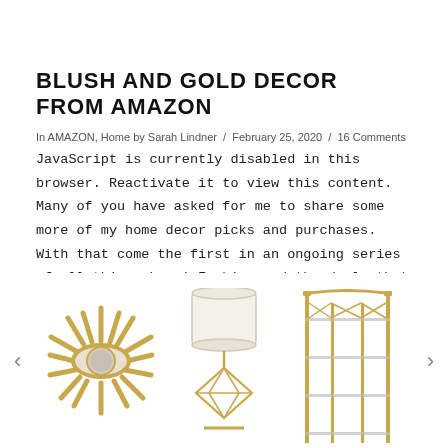BLUSH AND GOLD DECOR FROM AMAZON
In AMAZON, Home by Sarah Lindner / February 25, 2020 / 16 Comments
JavaScript is currently disabled in this browser. Reactivate it to view this content.   Many of you have asked for me to share some more of my home decor picks and purchases.  With that come the first in an ongoing series of all things home! Fashion and the deals that come with them is always my first love but I ...
[Figure (photo): Carousel of three home decor product images: a gold sunburst eye-shaped mirror, a geometric diamond wire table lamp with white shade, and a gold metal etagere/bookshelf. Navigation arrows on left and right sides.]